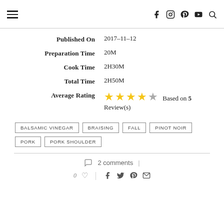≡  [social icons: facebook, instagram, pinterest, youtube, search]
Published On  2017-11-12
Preparation Time  20M
Cook Time  2H30M
Total Time  2H50M
Average Rating  ★★★★☆  Based on 5 Review(s)
BALSAMIC VINEGAR
BRAISING
FALL
PINOT NOIR
PORK
PORK SHOULDER
2 comments
0 ♡  [facebook, twitter, pinterest, email icons]